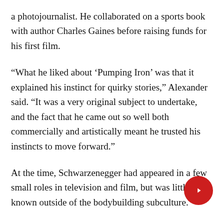a photojournalist. He collaborated on a sports book with author Charles Gaines before raising funds for his first film.
“What he liked about ‘Pumping Iron’ was that it explained his instinct for quirky stories,” Alexander said. “It was a very original subject to undertake, and the fact that he came out so well both commercially and artistically meant he trusted his instincts to move forward.”
At the time, Schwarzenegger had appeared in a few small roles in television and film, but was little known outside of the bodybuilding subculture.
“Pumping Iron” relied heavily on Schwarzenegger’s magnetic presence and ability to play a joke, long before he became the star of the “Terminator” film